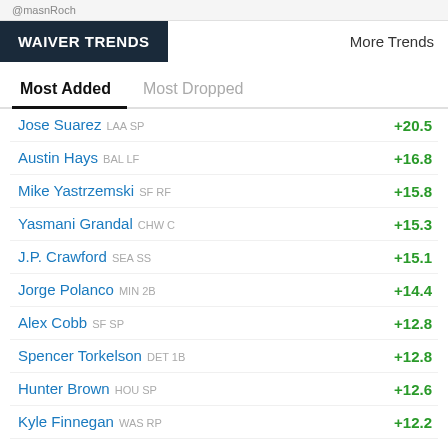@masnRoch
WAIVER TRENDS
More Trends
Most Added
Most Dropped
Jose Suarez LAA SP +20.5
Austin Hays BAL LF +16.8
Mike Yastrzemski SF RF +15.8
Yasmani Grandal CHW C +15.3
J.P. Crawford SEA SS +15.1
Jorge Polanco MIN 2B +14.4
Alex Cobb SF SP +12.8
Spencer Torkelson DET 1B +12.8
Hunter Brown HOU SP +12.6
Kyle Finnegan WAS RP +12.2
Jesus Aguilar BAL 1B +11.6